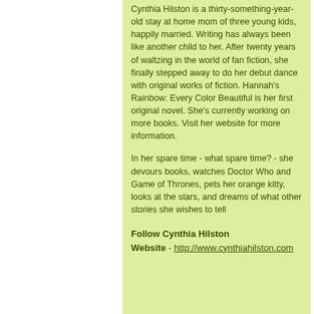Cynthia Hilston is a thirty-something-year-old stay at home mom of three young kids, happily married. Writing has always been like another child to her. After twenty years of waltzing in the world of fan fiction, she finally stepped away to do her debut dance with original works of fiction. Hannah's Rainbow: Every Color Beautiful is her first original novel. She's currently working on more books. Visit her website for more information.
In her spare time - what spare time? - she devours books, watches Doctor Who and Game of Thrones, pets her orange kitty, looks at the stars, and dreams of what other stories she wishes to tell
Follow Cynthia Hilston
Website - http://www.cynthiahilston.com